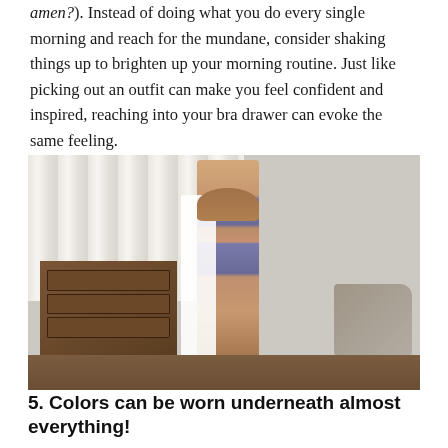amen?). Instead of doing what you do every single morning and reach for the mundane, consider shaking things up to brighten up your morning routine. Just like picking out an outfit can make you feel confident and inspired, reaching into your bra drawer can evoke the same feeling.
[Figure (photo): A woman wearing a blue-grey bra and matching underwear with a white open cardigan stands in a bedroom with white curtains, a dark wood dresser, and a grey chair visible in the background.]
5. Colors can be worn underneath almost everything!